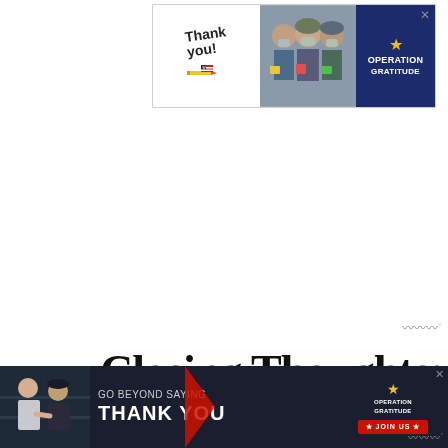[Figure (photo): Advertisement banner at top: Thank You with Operation Gratitude logo, showing medical workers holding cards]
[Figure (logo): Mediavine logo/watermark icon in mid-right area]
Closing Thoughts:
[Figure (photo): Bottom advertisement banner: Go Beyond Saying Thank You - Operation Gratitude Join Us, showing people in dark setting]